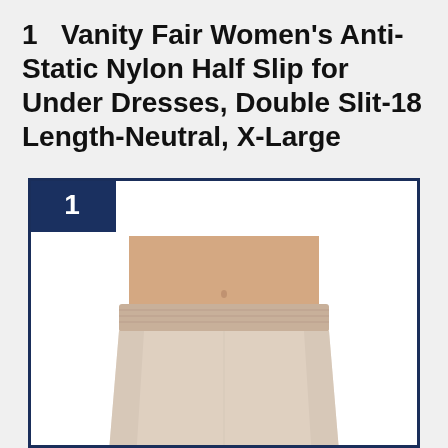1   Vanity Fair Women's Anti-Static Nylon Half Slip for Under Dresses, Double Slit-18 Length-Neutral, X-Large
[Figure (photo): Product photo of a neutral/beige colored women's half slip with elastic waistband, shown on a model's torso cropped at the waist. The slip hangs straight to below the frame.]